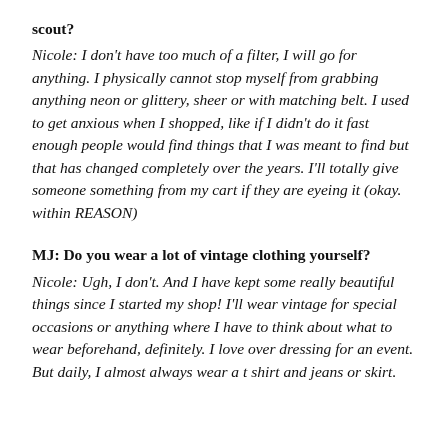scout?
Nicole: I don't have too much of a filter, I will go for anything. I physically cannot stop myself from grabbing anything neon or glittery, sheer or with matching belt. I used to get anxious when I shopped, like if I didn't do it fast enough people would find things that I was meant to find but that has changed completely over the years. I'll totally give someone something from my cart if they are eyeing it (okay. within REASON)
MJ: Do you wear a lot of vintage clothing yourself?
Nicole: Ugh, I don't. And I have kept some really beautiful things since I started my shop! I'll wear vintage for special occasions or anything where I have to think about what to wear beforehand, definitely. I love over dressing for an event. But daily, I almost always wear a t shirt and jeans or skirt.